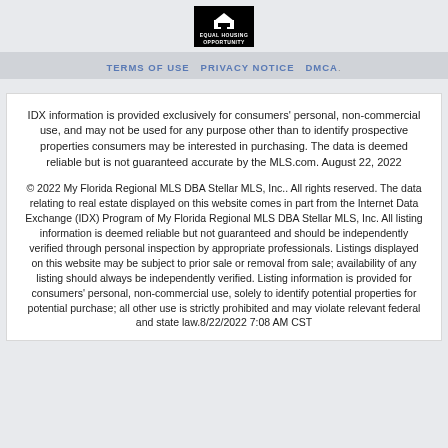[Figure (logo): Equal Housing Opportunity logo — black square with house icon and text EQUAL HOUSING OPPORTUNITY]
TERMS OF USE   PRIVACY NOTICE   DMCA
IDX information is provided exclusively for consumers' personal, non-commercial use, and may not be used for any purpose other than to identify prospective properties consumers may be interested in purchasing. The data is deemed reliable but is not guaranteed accurate by the MLS.com. August 22, 2022
© 2022 My Florida Regional MLS DBA Stellar MLS, Inc.. All rights reserved. The data relating to real estate displayed on this website comes in part from the Internet Data Exchange (IDX) Program of My Florida Regional MLS DBA Stellar MLS, Inc. All listing information is deemed reliable but not guaranteed and should be independently verified through personal inspection by appropriate professionals. Listings displayed on this website may be subject to prior sale or removal from sale; availability of any listing should always be independently verified. Listing information is provided for consumers' personal, non-commercial use, solely to identify potential properties for potential purchase; all other use is strictly prohibited and may violate relevant federal and state law.8/22/2022 7:08 AM CST